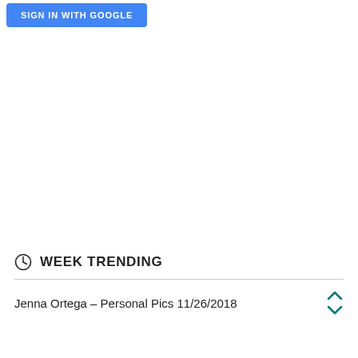[Figure (screenshot): Blue 'SIGN IN WITH GOOGLE' button partially visible at top]
WEEK TRENDING
Jenna Ortega – Personal Pics 11/26/2018